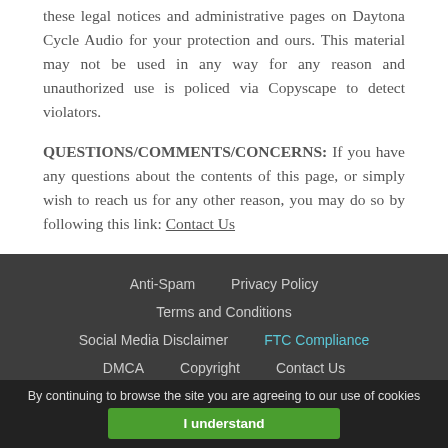these legal notices and administrative pages on Daytona Cycle Audio for your protection and ours. This material may not be used in any way for any reason and unauthorized use is policed via Copyscape to detect violators.
QUESTIONS/COMMENTS/CONCERNS: If you have any questions about the contents of this page, or simply wish to reach us for any other reason, you may do so by following this link: Contact Us
Anti-Spam   Privacy Policy   Terms and Conditions   Social Media Disclaimer   FTC Compliance   DMCA   Copyright   Contact Us
[Figure (other): Social media icons: Facebook, Twitter, Instagram, RSS feed]
By continuing to browse the site you are agreeing to our use of cookies
I understand